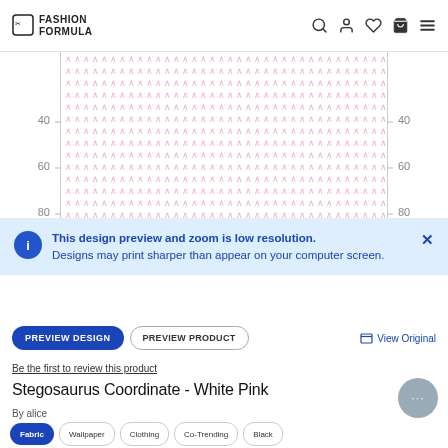FASHION FORMULA
[Figure (other): Fabric pattern preview showing a repeating pink arrow/chevron motif on white grid with rulers showing measurements 40, 60, 80 on left and right sides]
This design preview and zoom is low resolution. Designs may print sharper than appear on your computer screen.
PREVIEW DESIGN  PREVIEW PRODUCT  View Original
Be the first to review this product
Stegosaurus Coordinate - White Pink
By alice